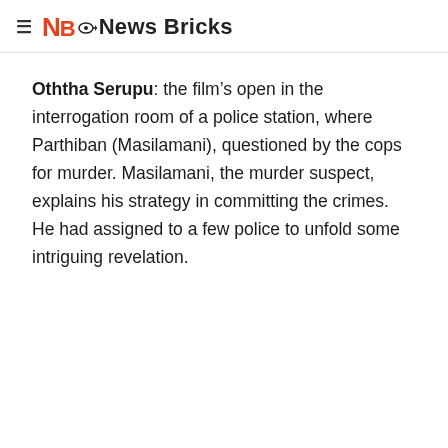≡ NB News Bricks
Oththa Serupu: the film's open in the interrogation room of a police station, where Parthiban (Masilamani), questioned by the cops for murder. Masilamani, the murder suspect, explains his strategy in committing the crimes. He had assigned to a few police to unfold some intriguing revelation.